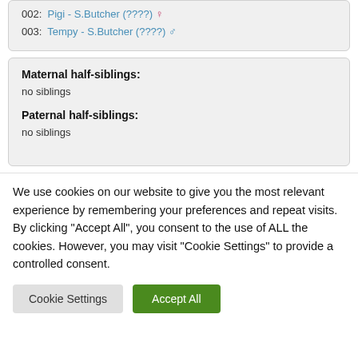002:  Pigi - S.Butcher (????) ♀
003:  Tempy - S.Butcher (????) ♂
Maternal half-siblings:
no siblings
Paternal half-siblings:
no siblings
We use cookies on our website to give you the most relevant experience by remembering your preferences and repeat visits. By clicking "Accept All", you consent to the use of ALL the cookies. However, you may visit "Cookie Settings" to provide a controlled consent.
Cookie Settings  Accept All